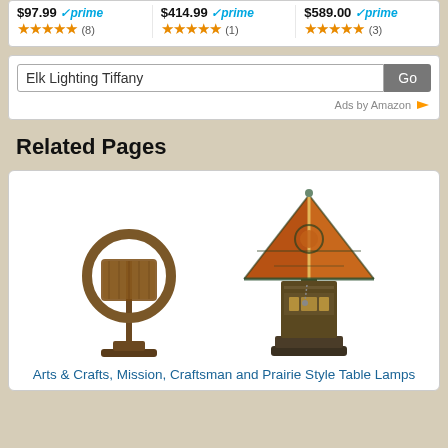$97.99 prime (8) | $414.99 prime (1) | $589.00 prime (3)
Elk Lighting Tiffany
Ads by Amazon
Related Pages
[Figure (photo): Two Elk Lighting lamps: a circular hoop-style lamp with drum shade (left) and a Tiffany mission-style table lamp with mica/stained glass pyramidal shade on decorative base (right)]
Arts & Crafts, Mission, Craftsman and Prairie Style Table Lamps